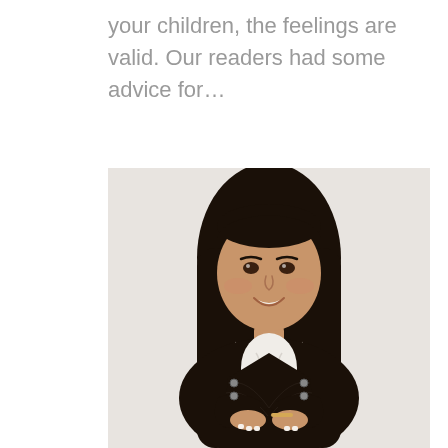your children, the feelings are valid. Our readers had some advice for…
[Figure (photo): Professional headshot of a young woman with long dark hair, smiling, wearing a black tweed jacket over a white ruffled blouse, arms crossed, against a light neutral background.]